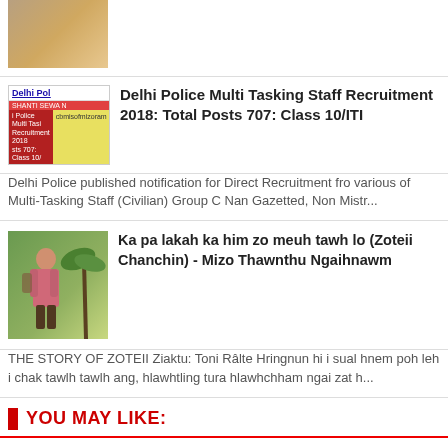[Figure (photo): Thumbnail image at top, cropped brownish/warm toned photo]
[Figure (photo): Delhi Police Multi Tasking Staff Recruitment 2018 thumbnail with red/yellow background and text]
Delhi Police Multi Tasking Staff Recruitment 2018: Total Posts 707: Class 10/ITI
Delhi Police published notification for Direct Recruitment fro various of Multi-Tasking Staff (Civilian) Group C Nan Gazetted, Non Mistr...
[Figure (photo): Person standing outdoors, green background with palm tree]
Ka pa lakah ka him zo meuh tawh lo (Zoteii Chanchin) - Mizo Thawnthu Ngaihnawm
THE STORY OF ZOTEII Ziaktu: Toni Râlte Hringnun hi i sual hnem poh leh i chak tawlh tawlh ang, hlawhtling tura hlawhchham ngai zat h...
YOU MAY LIKE:
» Mizo Thawnthu
» Mizo-Thuziak
» Success Story
» Thalai Huang